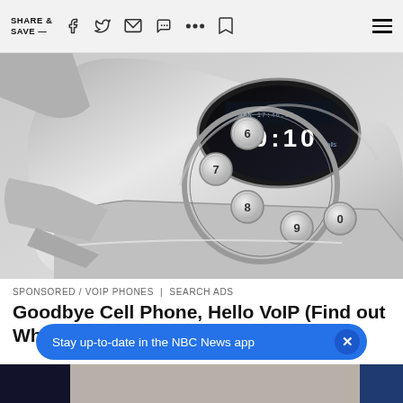SHARE & SAVE —
[Figure (photo): Close-up photo of a retro-style silver VoIP desk phone with circular keypad buttons and digital display showing time]
SPONSORED / VOIP PHONES | SEARCH ADS
Goodbye Cell Phone, Hello VoIP (Find out Why Many are Switching)
More From NBC News
[Figure (screenshot): Blue notification banner: Stay up-to-date in the NBC News app with close button]
[Figure (photo): Thumbnail strip at bottom showing partial news article images]